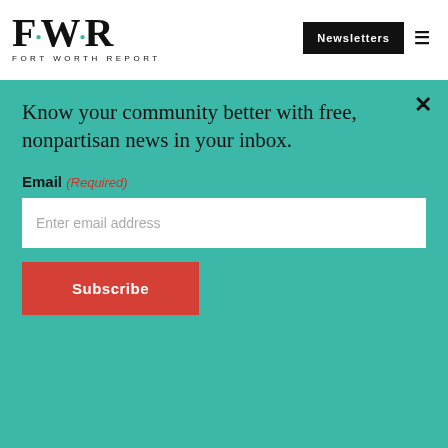[Figure (logo): FWR Fort Worth Report logo with teal accent dots]
Newsletters
Know your community better with free, nonpartisan news in your inbox.
Email (Required)
Enter email address
Subscribe
meet in Fort Worth
Partner Message